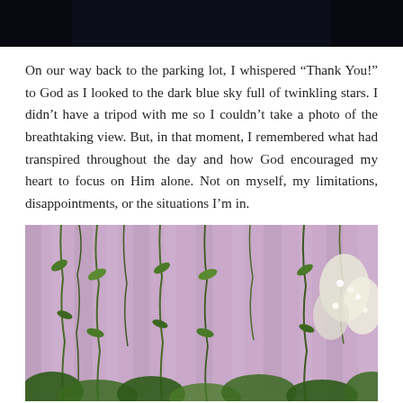[Figure (photo): Dark blue/black background photo, partial view at top of page]
On our way back to the parking lot, I whispered “Thank You!” to God as I looked to the dark blue sky full of twinkling stars. I didn’t have a tripod with me so I couldn’t take a photo of the breathtaking view. But, in that moment, I remembered what had transpired throughout the day and how God encouraged my heart to focus on Him alone. Not on myself, my limitations, disappointments, or the situations I’m in.
[Figure (photo): Photo of decorative floral arrangement with hanging greenery and vines against a pink/purple draped background]